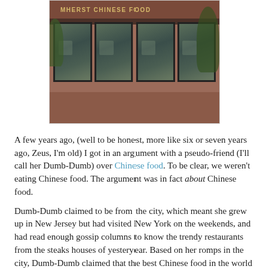[Figure (photo): Exterior photo of a Chinese restaurant building called 'Amherst Chinese Food', showing large glass windows, a dark sign with gold lettering, red/brown brick facade, and trees in the foreground.]
A few years ago, (well to be honest, more like six or seven years ago, Zeus, I'm old) I got in an argument with a pseudo-friend (I'll call her Dumb-Dumb) over Chinese food. To be clear, we weren't eating Chinese food. The argument was in fact about Chinese food.
Dumb-Dumb claimed to be from the city, which meant she grew up in New Jersey but had visited New York on the weekends, and had read enough gossip columns to know the trendy restaurants from the steaks houses of yesteryear. Based on her romps in the city, Dumb-Dumb claimed that the best Chinese food in the world came from an establishment known as P.F. Chang's, located on a little island she called Manhattan (never heard of the island? Me neither.